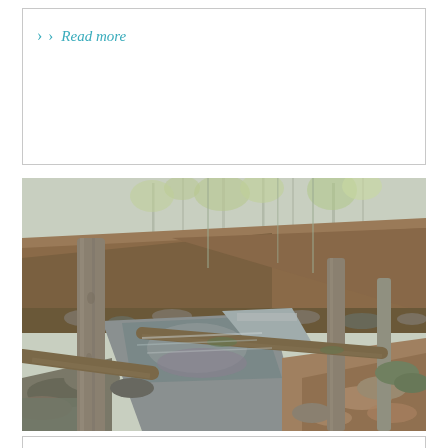Read more
[Figure (photo): A wooded creek scene in early spring showing a shallow rocky stream with muddy water flowing between tree-lined banks. Fallen logs cross the stream, rocks and leaf litter cover the ground, and trees have sparse early spring foliage. The scene appears to be in a temperate deciduous forest.]